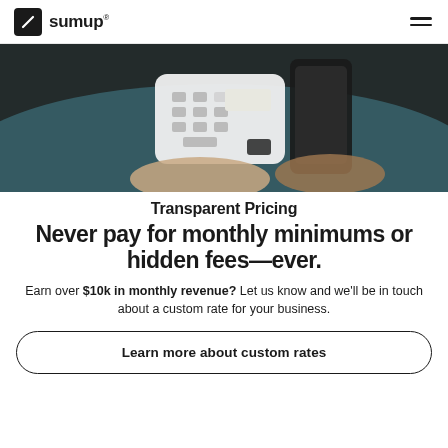sumup®
[Figure (photo): Close-up of a hand holding a SumUp card reader device with keypad, near a smartphone, on a dark teal background]
Transparent Pricing
Never pay for monthly minimums or hidden fees—ever.
Earn over $10k in monthly revenue? Let us know and we'll be in touch about a custom rate for your business.
Learn more about custom rates